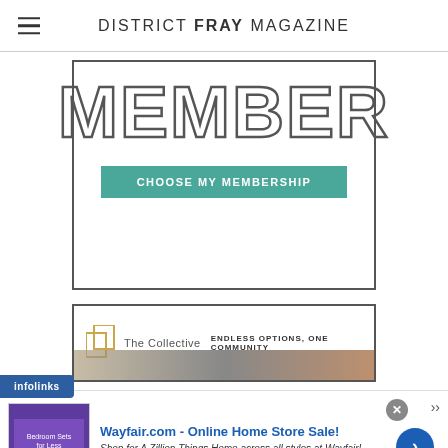DISTRICT FRAY MAGAZINE
[Figure (screenshot): MEMBER text in outline letters with CHOOSE MY MEMBERSHIP teal button below, inside a bordered card]
[Figure (screenshot): The Collective logo with tagline ENDLESS OPTIONS, ONE COMMUNITY inside a bordered card]
infolinks
[Figure (screenshot): Wayfair.com advertisement: Online Home Store Sale! Shop for A Zillion Things Home across all styles at Wayfair! www.wayfair.com]